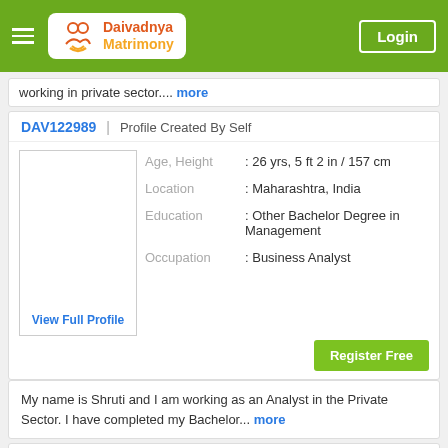Daivadnya Matrimony | Login
working in private sector.... more
DAV122989 | Profile Created By Self
| Field | Value |
| --- | --- |
| Age, Height | : 26 yrs, 5 ft 2 in / 157 cm |
| Location | : Maharashtra, India |
| Education | : Other Bachelor Degree in Management |
| Occupation | : Business Analyst |
View Full Profile
Register Free
My name is Shruti and I am working as an Analyst in the Private Sector. I have completed my Bachelor... more
DAV125300 | Profile Created By Self
| Field | Value |
| --- | --- |
| Age, Height | : 28 yrs, 5 ft 4 in / 162 cm |